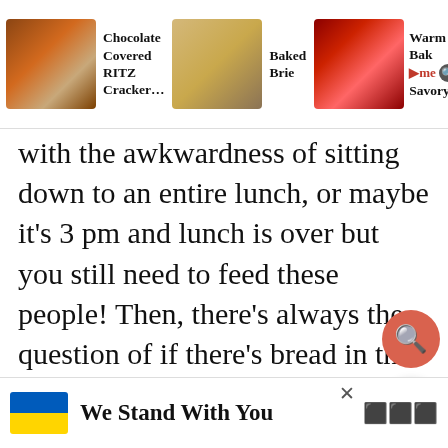[Figure (screenshot): Top navigation bar showing three recipe cards: 'Chocolate Covered RITZ Cracker...', 'Baked Brie', and 'Warm Bak... Savory...' with food thumbnail images]
with the awkwardness of sitting down to an entire lunch, or maybe it's 3 pm and lunch is over but you still need to feed these people! Then, there's always the question of if there's bread in the house? Is the bread fresh or moldy? Ok, maybe I'm the only person that has this problem.
Or you're that lucky mom (or dad!) who
[Figure (screenshot): Heart/like button (circle with heart icon) and search button (orange circle with magnifying glass icon)]
[Figure (screenshot): Banner at the bottom: Ukrainian flag icon with text 'We Stand With You' and a close (x) button and app icon]